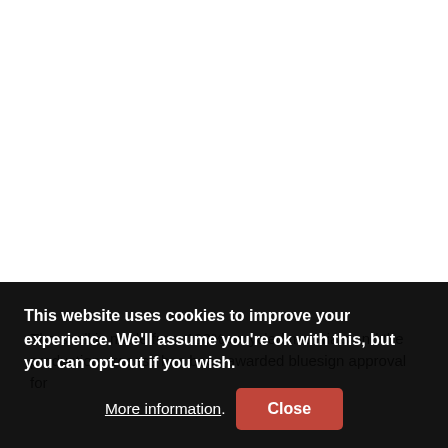The shell is made from 100% recycled materials and the production process has been awarded bluesign approval for
This website uses cookies to improve your experience. We'll assume you're ok with this, but you can opt-out if you wish. More information. Close